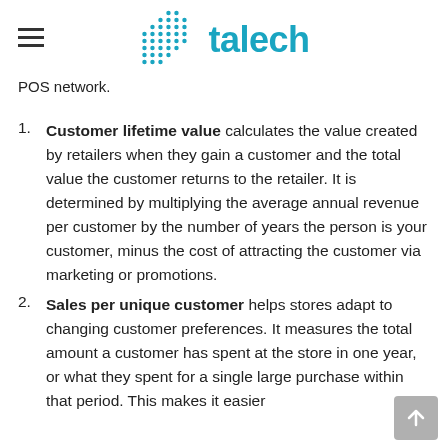talech
POS network.
Customer lifetime value calculates the value created by retailers when they gain a customer and the total value the customer returns to the retailer. It is determined by multiplying the average annual revenue per customer by the number of years the person is your customer, minus the cost of attracting the customer via marketing or promotions.
Sales per unique customer helps stores adapt to changing customer preferences. It measures the total amount a customer has spent at the store in one year, or what they spent for a single large purchase within that period. This makes it easier